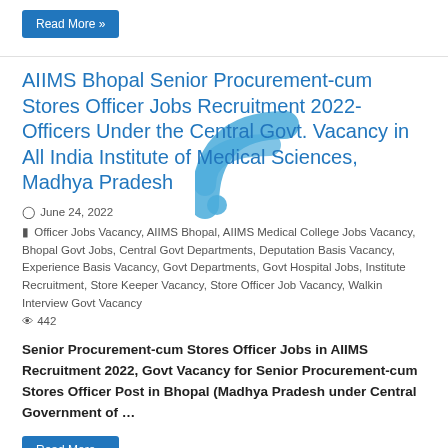Read More »
AIIMS Bhopal Senior Procurement-cum Stores Officer Jobs Recruitment 2022- Officers Under the Central Govt. Vacancy in All India Institute of Medical Sciences, Madhya Pradesh
June 24, 2022
Officer Jobs Vacancy, AIIMS Bhopal, AIIMS Medical College Jobs Vacancy, Bhopal Govt Jobs, Central Govt Departments, Deputation Basis Vacancy, Experience Basis Vacancy, Govt Departments, Govt Hospital Jobs, Institute Recruitment, Store Keeper Vacancy, Store Officer Job Vacancy, Walkin Interview Govt Vacancy
442
Senior Procurement-cum Stores Officer Jobs in AIIMS Recruitment 2022, Govt Vacancy for Senior Procurement-cum Stores Officer Post in Bhopal (Madhya Pradesh under Central Government of …
Read More »